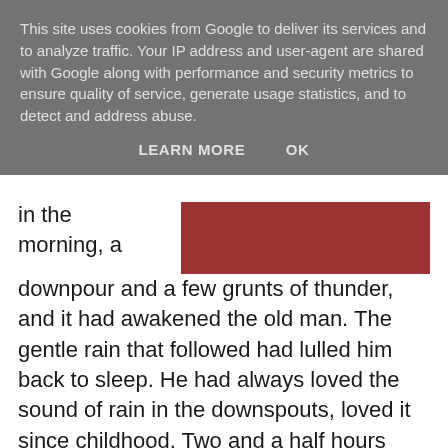This site uses cookies from Google to deliver its services and to analyze traffic. Your IP address and user-agent are shared with Google along with performance and security metrics to ensure quality of service, generate usage statistics, and to detect and address abuse.
LEARN MORE    OK
in the morning, a downpour and a few grunts of thunder, and it had awakened the old man. The gentle rain that followed had lulled him back to sleep. He had always loved the sound of rain in the downspouts, loved it since childhood. Two and a half hours later he awoke again, went to the bathroom, dressed, and made a pot of tea. Now he was sitting in the unheated front room, cozy in a sweater, cuddling the cup of tea to his chest, and watching the rain. It fell steadily onto the asphalt street in front of his apartment, made little vanishing circles in the puddles. A few drops clung to the glass of the lattice window. One of his neighbors, a